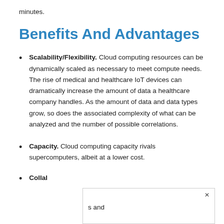minutes.
Benefits And Advantages
Scalability/Flexibility. Cloud computing resources can be dynamically scaled as necessary to meet compute needs. The rise of medical and healthcare IoT devices can dramatically increase the amount of data a healthcare company handles. As the amount of data and data types grow, so does the associated complexity of what can be analyzed and the number of possible correlations.
Capacity. Cloud computing capacity rivals supercomputers, albeit at a lower cost.
Collal [obscured by popup] s and [cut off]